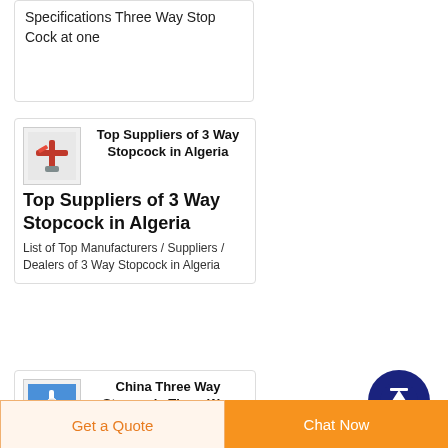Specifications Three Way Stop Cock at one
Top Suppliers of 3 Way Stopcock in Algeria
List of Top Manufacturers / Suppliers / Dealers of 3 Way Stopcock in Algeria
China Three Way Stopcock, Three Way Stopcock Manufacturers
[Figure (illustration): Scroll to top button - dark navy circular button with upward arrow]
Get a Quote
Chat Now